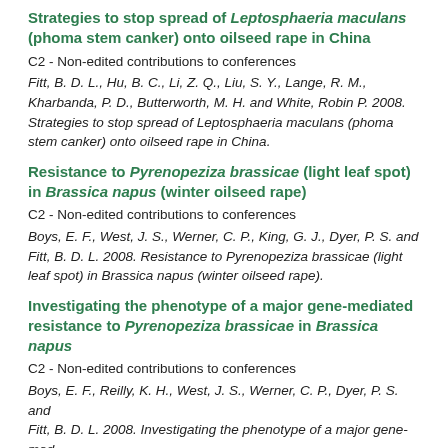Strategies to stop spread of Leptosphaeria maculans (phoma stem canker) onto oilseed rape in China
C2 - Non-edited contributions to conferences
Fitt, B. D. L., Hu, B. C., Li, Z. Q., Liu, S. Y., Lange, R. M., Kharbanda, P. D., Butterworth, M. H. and White, Robin P. 2008. Strategies to stop spread of Leptosphaeria maculans (phoma stem canker) onto oilseed rape in China.
Resistance to Pyrenopeziza brassicae (light leaf spot) in Brassica napus (winter oilseed rape)
C2 - Non-edited contributions to conferences
Boys, E. F., West, J. S., Werner, C. P., King, G. J., Dyer, P. S. and Fitt, B. D. L. 2008. Resistance to Pyrenopeziza brassicae (light leaf spot) in Brassica napus (winter oilseed rape).
Investigating the phenotype of a major gene-mediated resistance to Pyrenopeziza brassicae in Brassica napus
C2 - Non-edited contributions to conferences
Boys, E. F., Reilly, K. H., West, J. S., Werner, C. P., Dyer, P. S. and Fitt, B. D. L. 2008. Investigating the phenotype of a major gene-mediated resistance to Pyrenopeziza brassicae in Brassica napus.